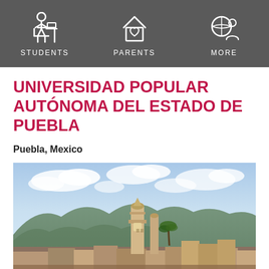STUDENTS   PARENTS   MORE
UNIVERSIDAD POPULAR AUTÓNOMA DEL ESTADO DE PUEBLA
Puebla, Mexico
[Figure (photo): Aerial/rooftop view of a Mexican city (Puebla) with a prominent cathedral tower, rooftops, trees, mountains, and a partly cloudy sky.]